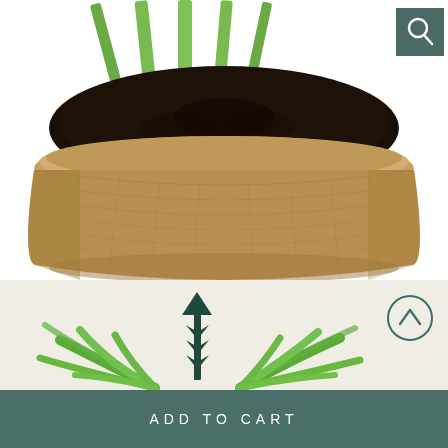[Figure (photo): Close-up photo of plant stems growing in a coir/natural fiber pot filled with dark soil, against white background. A magnifier/zoom icon appears in the top right corner of the image.]
[Figure (illustration): Bottom panel showing a palm plant illustration with a dark teal upward arrow icon indicating growth, on a cream/beige background. A circular chevron-up button is visible on the right.]
ADD TO CART